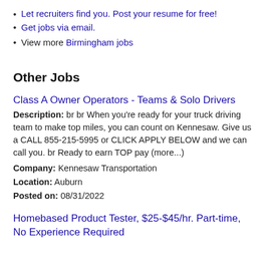Let recruiters find you. Post your resume for free!
Get jobs via email.
View more Birmingham jobs
Other Jobs
Class A Owner Operators - Teams & Solo Drivers
Description: br br When you're ready for your truck driving team to make top miles, you can count on Kennesaw. Give us a CALL 855-215-5995 or CLICK APPLY BELOW and we can call you. br Ready to earn TOP pay (more...)
Company: Kennesaw Transportation
Location: Auburn
Posted on: 08/31/2022
Homebased Product Tester, $25-$45/hr. Part-time, No Experience Required